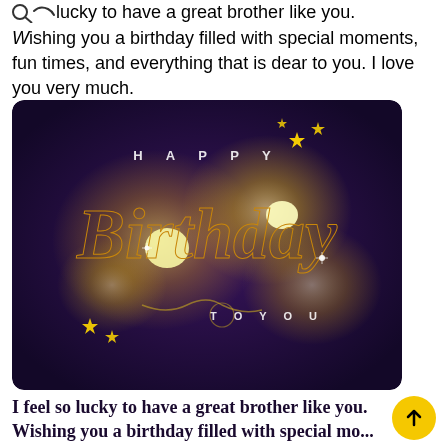...lucky to have a great brother like you. Wishing you a birthday filled with special moments, fun times, and everything that is dear to you. I love you very much.
[Figure (illustration): Happy Birthday greeting card with golden script 'Birthday' text on a dark purple background with glowing yellow bokeh lights and stars. Text reads 'HAPPY' at top and 'TO YOU' at bottom.]
I feel so lucky to have a great brother like you. Wishing you a birthday filled with special mo...